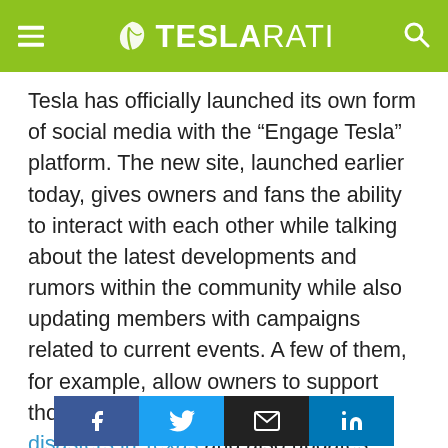TESLARATI
Tesla has officially launched its own form of social media with the “Engage Tesla” platform. The new site, launched earlier today, gives owners and fans the ability to interact with each other while talking about the latest developments and rumors within the community while also updating members with campaigns related to current events. A few of them, for example, allow owners to support those affected by the recent storm disasters in Texas and also updates members of community events taking place near them. With the new platform, Tesla is dropping its Forums.Tesla.com site, making the